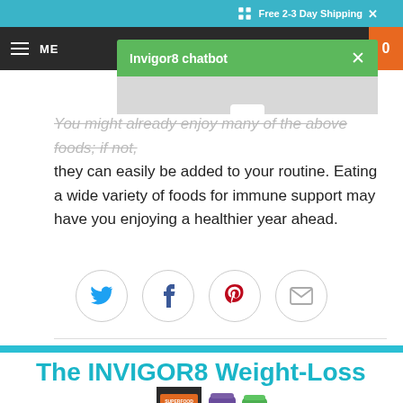Free 2-3 Day Shipping
You might already enjoy many of the above foods; if not, they can easily be added to your routine. Eating a wide variety of foods for immune support may have you enjoying a healthier year ahead.
[Figure (infographic): Social sharing icons row: Twitter (blue bird), Facebook (blue f), Pinterest (red P), Email (gray envelope) — each in a gray circle border]
The INVIGOR8 Weight-Loss Family
[Figure (photo): INVIGOR8 product lineup showing Superfood Shake and other supplement containers]